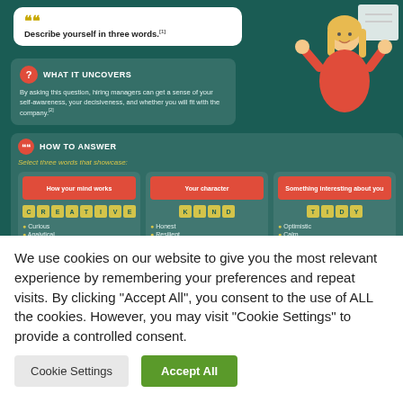[Figure (infographic): Infographic on a dark teal background showing a job interview question 'Describe yourself in three words.' with sections 'What It Uncovers' and 'How to Answer', including three columns for word categories: 'How your mind works' (CREATIVE, Curious, Analytical, Methodical), 'Your character' (KIND, Honest, Resilient, Friendly), and 'Something interesting about you' (TIDY, Optimistic, Calm, Generous). A female character illustration appears in the top right.]
We use cookies on our website to give you the most relevant experience by remembering your preferences and repeat visits. By clicking "Accept All", you consent to the use of ALL the cookies. However, you may visit "Cookie Settings" to provide a controlled consent.
Cookie Settings
Accept All